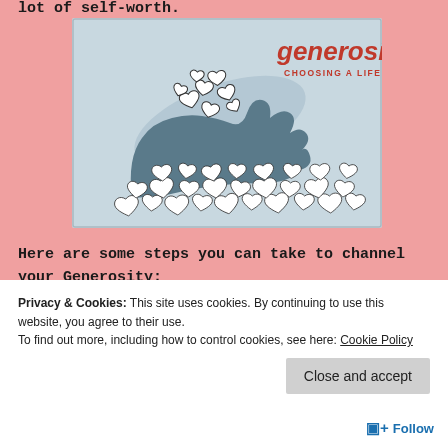lot of self-worth.
[Figure (illustration): Book cover image for 'generosity: CHOOSING A LIFE OF OVERFLOW'. Shows a hand releasing white heart shapes against a light blue background, with hearts scattered at the bottom.]
Here are some steps you can take to channel your Generosity:
Privacy & Cookies: This site uses cookies. By continuing to use this website, you agree to their use.
To find out more, including how to control cookies, see here: Cookie Policy
Close and accept
+ Follow